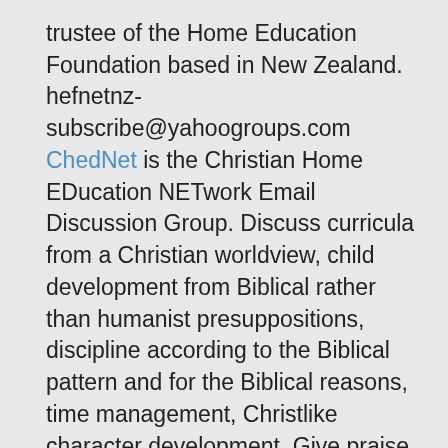trustee of the Home Education Foundation based in New Zealand. hefnetnz-subscribe@yahoogroups.com ChedNet is the Christian Home EDucation NETwork Email Discussion Group. Discuss curricula from a Christian worldview, child development from Biblical rather than humanist presuppositions, discipline according to the Biblical pattern and for the Biblical reasons, time management, Christlike character development. Give praise to the Lord for His mercies, blessings and victories! All with like-minded people. Moderated by Craig Smith, National Director of Christian Home Schoolers of New Zealand. chednetnz-subscribe@yahoogroups.com CcedNet is the Christian Classical home EDucation NETwork Email discussion group of New Zealand. This discussion group is for those Christian families who would like to be training their children to think